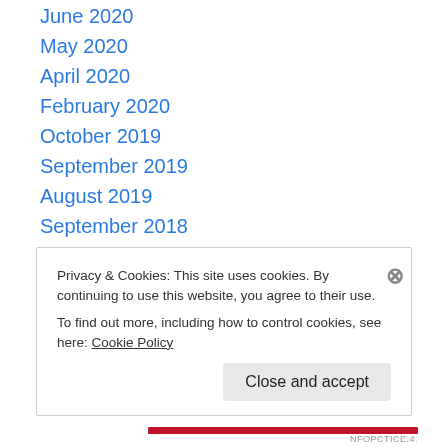June 2020
May 2020
April 2020
February 2020
October 2019
September 2019
August 2019
September 2018
April 2017
March 2017
February 2017
January 2017
October 2016
Privacy & Cookies: This site uses cookies. By continuing to use this website, you agree to their use. To find out more, including how to control cookies, see here: Cookie Policy
Close and accept